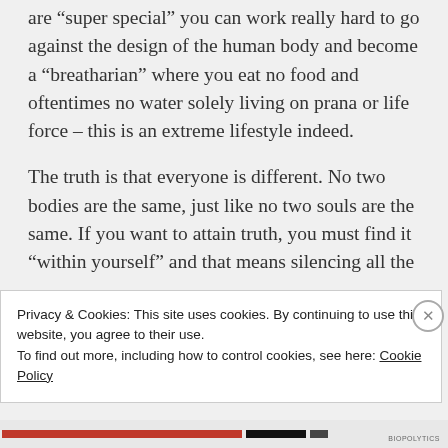are “super special” you can work really hard to go against the design of the human body and become a “breatharian” where you eat no food and oftentimes no water solely living on prana or life force – this is an extreme lifestyle indeed.
The truth is that everyone is different. No two bodies are the same, just like no two souls are the same. If you want to attain truth, you must find it “within yourself” and that means silencing all the
Privacy & Cookies: This site uses cookies. By continuing to use this website, you agree to their use.
To find out more, including how to control cookies, see here: Cookie Policy
Close and accept